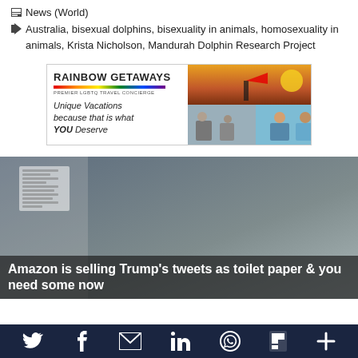News (World)
Australia, bisexual dolphins, bisexuality in animals, homosexuality in animals, Krista Nicholson, Mandurah Dolphin Research Project
[Figure (photo): Rainbow Getaways advertisement banner — Premier LGBTQ Travel Concierge, Unique Vacations because that is what YOU Deserve, with rainbow pride flag photo and lifestyle images]
[Figure (screenshot): News article thumbnail showing a Trump tweet displayed on toilet paper, with headline: Amazon is selling Trump's tweets as toilet paper & you need some now]
Social share bar with Twitter, Facebook, email, LinkedIn, WhatsApp, Flipboard, and more icons